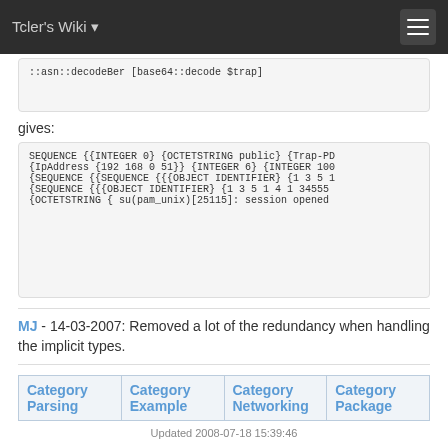Tcler's Wiki
::asn::decodeBer [base64::decode $trap]
gives:
SEQUENCE {{INTEGER 0} {OCTETSTRING public} {Trap-PD
{IpAddress {192 168 0 51}} {INTEGER 6} {INTEGER 100
{SEQUENCE {{SEQUENCE {{{OBJECT IDENTIFIER} {1 3 5 1
{SEQUENCE {{{OBJECT IDENTIFIER} {1 3 5 1 4 1 34555
{OCTETSTRING { su(pam_unix)[25115]: session opened
MJ - 14-03-2007: Removed a lot of the redundancy when handling the implicit types.
| Category
Parsing | Category
Example | Category
Networking | Category
Package |
Updated 2008-07-18 15:39:46